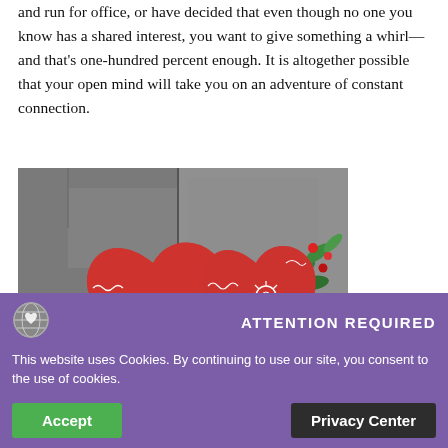and run for office, or have decided that even though no one you know has a shared interest, you want to give something a whirl—and that's one-hundred percent enough. It is altogether possible that your open mind will take you on an adventure of constant connection.
[Figure (photo): Two red decorative heart-shaped cushions/pillows with white embroidery patterns, resting against a grey stone wall with red berries and green leaves in the background.]
ATTENTION REQUIRED
This website uses Cookies. By continuing to use our site, you consent to the use of cookies.